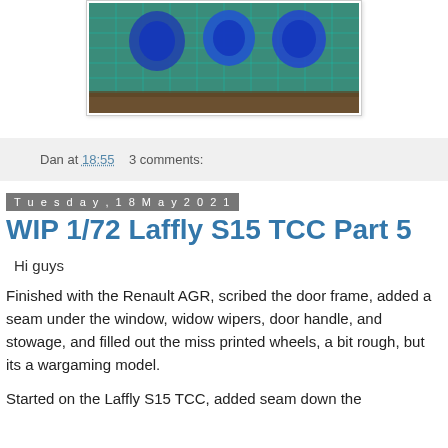[Figure (photo): Photo of blue miniature resin wheels/parts on a green cutting mat with grid lines]
Dan at 18:55   3 comments:
Tuesday, 18 May 2021
WIP 1/72 Laffly S15 TCC Part 5
Hi guys
Finished with the Renault AGR, scribed the door frame, added a seam under the window, widow wipers, door handle, and stowage, and filled out the miss printed wheels, a bit rough, but its a wargaming model.
Started on the Laffly S15 TCC, added seam down the